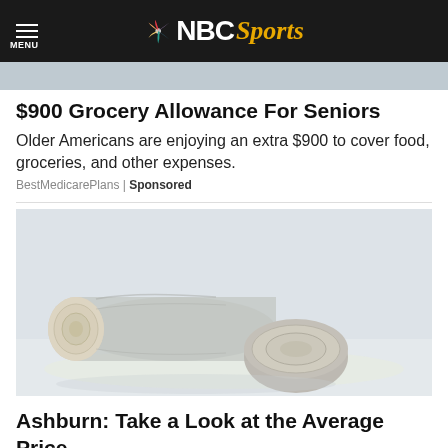NBC Sports
[Figure (photo): Partial top image strip, partially visible]
$900 Grocery Allowance For Seniors
Older Americans are enjoying an extra $900 to cover food, groceries, and other expenses.
BestMedicarePlans | Sponsored
[Figure (photo): Outdoor photo of large cut logs and tree stumps on the ground, faded/washed-out appearance]
Ashburn: Take a Look at the Average Price